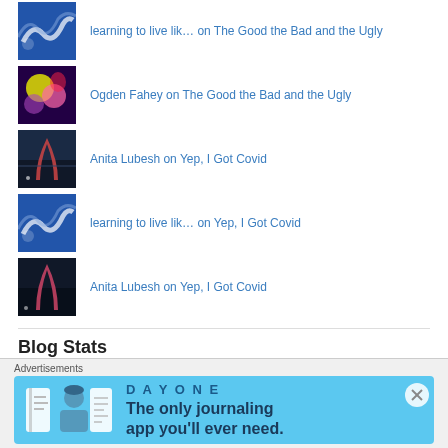learning to live lik… on The Good the Bad and the Ugly
Ogden Fahey on The Good the Bad and the Ugly
Anita Lubesh on Yep, I Got Covid
learning to live lik… on Yep, I Got Covid
Anita Lubesh on Yep, I Got Covid
Blog Stats
Advertisements
[Figure (infographic): Day One journaling app advertisement banner: 'The only journaling app you'll ever need.']